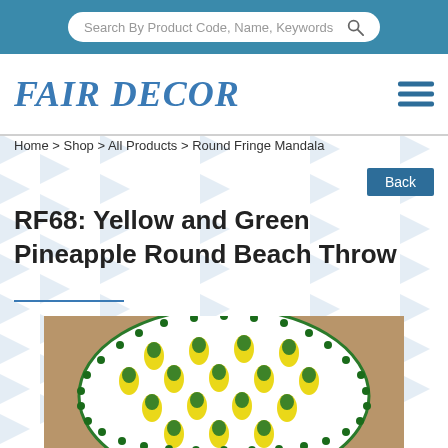Search By Product Code, Name, Keywords
[Figure (logo): Fair Decor logo in blue serif italic bold text with hamburger menu icon]
Home > Shop > All Products > Round Fringe Mandala
Back
RF68: Yellow and Green Pineapple Round Beach Throw
[Figure (photo): Round beach throw with yellow and green pineapple pattern and green pom-pom fringe border, photographed on concrete floor from above]